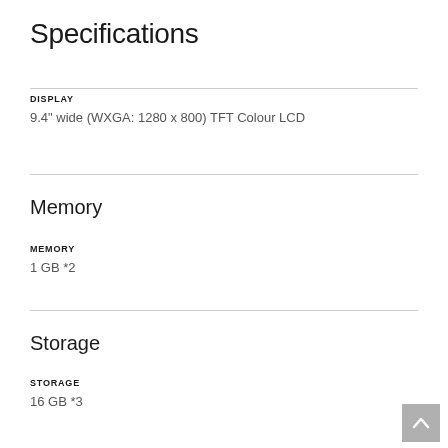Specifications
DISPLAY
9.4" wide (WXGA: 1280 x 800) TFT Colour LCD
Memory
MEMORY
1 GB *2
Storage
STORAGE
16 GB *3